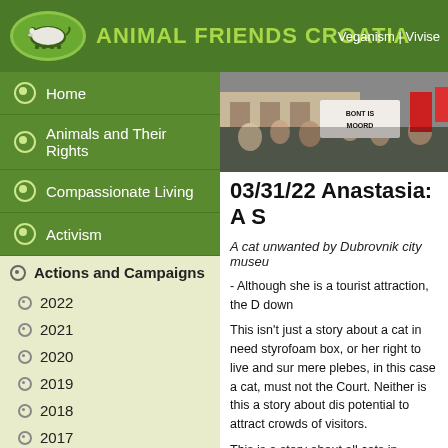[Figure (logo): Animal Friends Croatia logo with pig silhouette in green oval and green text]
Veganism | Vivise
Home
Animals and Their Rights
Compassionate Living
Activism
Actions and Campaigns
2022
2021
2020
2019
2018
2017
2016
2015
2014
2013
2012
2011
2010
2009
[Figure (photo): Protest photo showing people holding a sign reading BONT IS MOORD with red flags]
03/31/22 Anastasia: A S
A cat unwanted by Dubrovnik city museu
- Although she is a tourist attraction, the D down
This isn't just a story about a cat in need styrofoam box, or her right to live and sur mere plebes, in this case a cat, must not the Court. Neither is this a story about dis potential to attract crowds of visitors.
This is a story about all cats in Croatia, ab the non-existing feeding stations or "Trap- This is a story about a disorderly and co